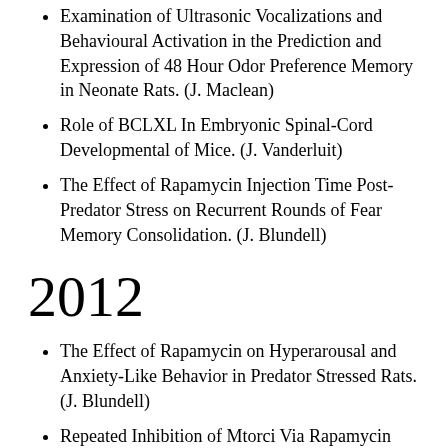Examination of Ultrasonic Vocalizations and Behavioural Activation in the Prediction and Expression of 48 Hour Odor Preference Memory in Neonate Rats. (J. Maclean)
Role of BCLXL In Embryonic Spinal-Cord Developmental of Mice. (J. Vanderluit)
The Effect of Rapamycin Injection Time Post-Predator Stress on Recurrent Rounds of Fear Memory Consolidation. (J. Blundell)
2012
The Effect of Rapamycin on Hyperarousal and Anxiety-Like Behavior in Predator Stressed Rats. (J. Blundell)
Repeated Inhibition of Mtorci Via Rapamycin Produces a Reduction in Food Intake and Body